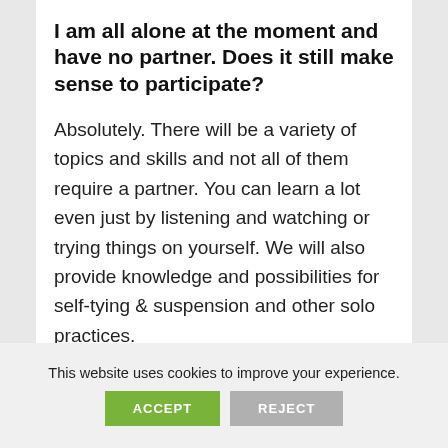I am all alone at the moment and have no partner. Does it still make sense to participate?
Absolutely. There will be a variety of topics and skills and not all of them require a partner. You can learn a lot even just by listening and watching or trying things on yourself. We will also provide knowledge and possibilities for self-tying & suspension and other solo practices.
This website uses cookies to improve your experience.